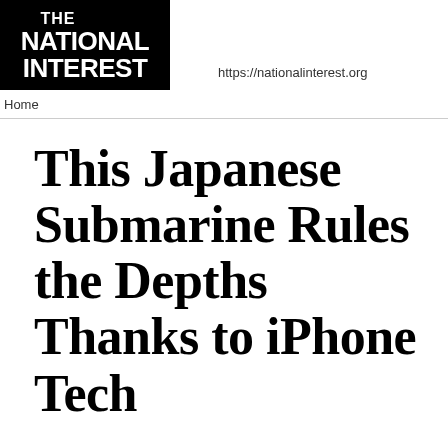[Figure (logo): The National Interest logo — white text on black background showing 'THE NATIONAL INTEREST']
https://nationalinterest.org
Home
This Japanese Submarine Rules the Depths Thanks to iPhone Tech